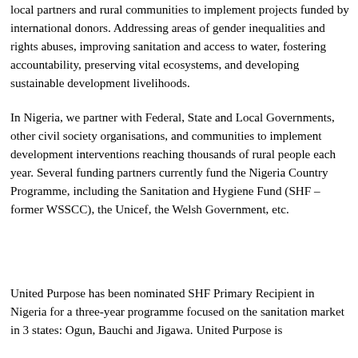local partners and rural communities to implement projects funded by international donors. Addressing areas of gender inequalities and rights abuses, improving sanitation and access to water, fostering accountability, preserving vital ecosystems, and developing sustainable development livelihoods.
In Nigeria, we partner with Federal, State and Local Governments, other civil society organisations, and communities to implement development interventions reaching thousands of rural people each year. Several funding partners currently fund the Nigeria Country Programme, including the Sanitation and Hygiene Fund (SHF – former WSSCC), the Unicef, the Welsh Government, etc.
United Purpose has been nominated SHF Primary Recipient in Nigeria for a three-year programme focused on the sanitation market in 3 states: Ogun, Bauchi and Jigawa. United Purpose is